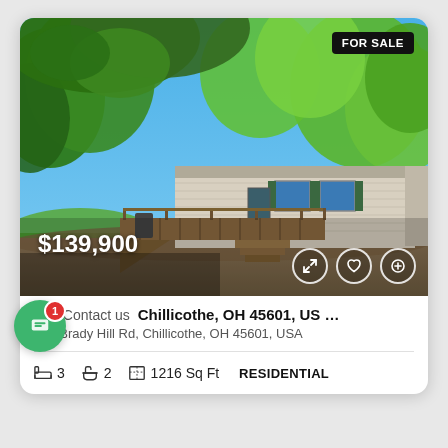[Figure (photo): Exterior photo of a mobile/manufactured home with wood deck and ramp, surrounded by green trees, blue sky. FOR SALE badge top right. Price $139,900 bottom left. Action icons bottom right.]
SC   Contact us   Chillicothe, OH 45601, US …
266 Brady Hill Rd, Chillicothe, OH 45601, USA
3  2  1216 Sq Ft  RESIDENTIAL